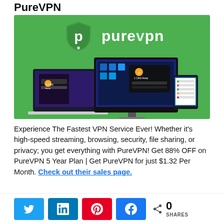PureVPN
[Figure (photo): PureVPN promotional banner showing the PureVPN logo (shield with 'p' icon and 'purevpn' text) on a green background, with multiple devices (laptop, desktop monitor, tablet, smartphone) displaying the PureVPN app interface with '1 Click Away' message.]
Experience The Fastest VPN Service Ever! Whether it's high-speed streaming, browsing, security, file sharing, or privacy; you get everything with PureVPN! Get 88% OFF on PureVPN 5 Year Plan | Get PureVPN for just $1.32 Per Month. Check out their sales page.